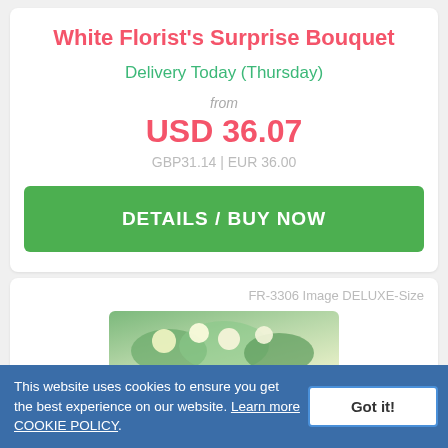White Florist's Surprise Bouquet
Delivery Today (Thursday)
from
USD 36.07
GBP31.14 | EUR 36.00
DETAILS / BUY NOW
FR-3306 Image DELUXE-Size
[Figure (photo): Partial view of a flower bouquet arrangement at the bottom of the second card]
This website uses cookies to ensure you get the best experience on our website. Learn more COOKIE POLICY.
Got it!